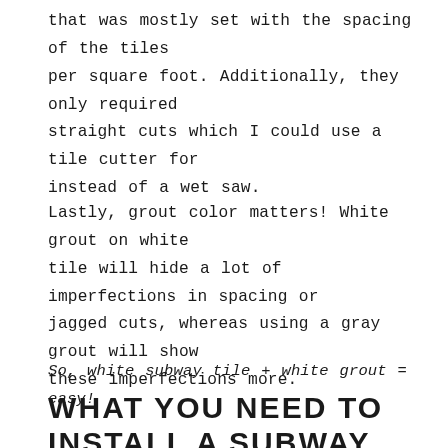that was mostly set with the spacing of the tiles per square foot. Additionally, they only required straight cuts which I could use a tile cutter for instead of a wet saw.
Lastly, grout color matters! White grout on white tile will hide a lot of imperfections in spacing or jagged cuts, whereas using a gray grout will show these imperfections more.
So, white subway tile + white grout = easy!
WHAT YOU NEED TO INSTALL A SUBWAY TILE